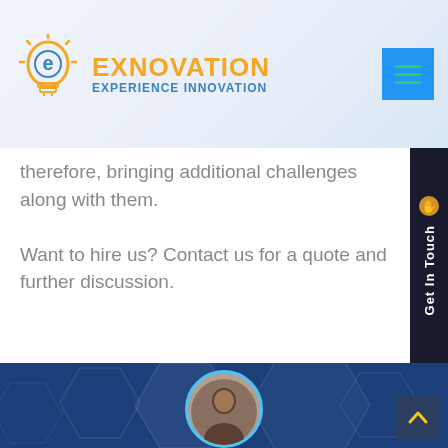[Figure (logo): Exnovation logo with lightbulb icon and text EXNOVATION EXPERIENCE INNOVATION in orange and blue]
[Figure (other): Blue hamburger menu button with three green lines]
therefore, bringing additional challenges along with them.
Want to hire us? Contact us for a quote and further discussion.
[Figure (other): Vertical dark sidebar with Get In Touch text rotated]
[Figure (photo): Blue section with hexagonal pattern and a circular profile photo of a man at the bottom center]
[Figure (other): Back to top button with chevron/arrow icon]